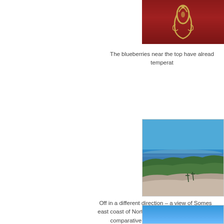[Figure (photo): Photo of a red-background display with brass ornamental object, partially cropped at top of page]
The blueberries near the top have already temperat…
[Figure (photo): Aerial/elevated landscape view of Somes Sound fjard on the east coast of North America, showing blue water, forested hills, and rocky foreground under clear blue sky]
Off in a different direction – a view of Somes east coast of North America. Fjards are found comparatively severe immediate lar…
[Figure (photo): Partial photo showing clear blue sky, bottom portion cut off]